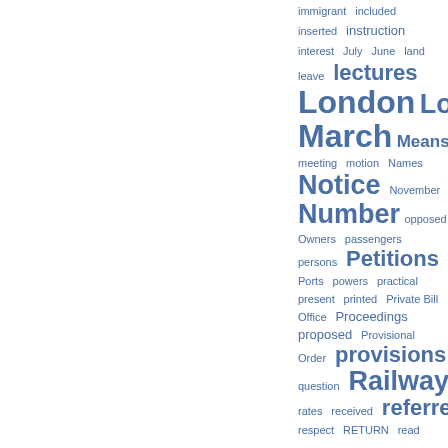immigrant  included  inserted  instruction  interest  July  June  land  leave  lectures  London  Lords  March  Means  meeting  motion  Names  Notice  November  Number  opposed  Owners  passengers  persons  Petitions  Plans  Ports  powers  practical  present  printed  Private Bill Office  Proceedings  proposed  Provisional Order  provisions  pupils  question  Railway  rates  received  referred  respect  RETURN  read